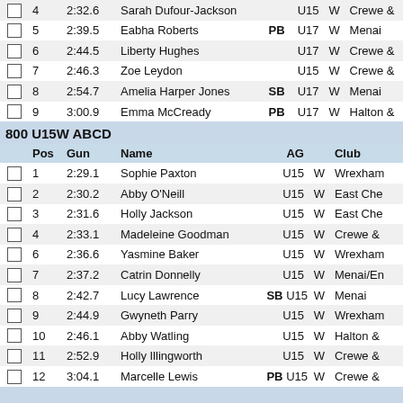|  | Pos | Gun | Name |  | AG |  | Club |
| --- | --- | --- | --- | --- | --- | --- | --- |
|  | 4 | 2:32.6 | Sarah Dufour-Jackson |  | U15 | W | Crewe & |
|  | 5 | 2:39.5 | Eabha Roberts | PB | U17 | W | Menai |
|  | 6 | 2:44.5 | Liberty Hughes |  | U17 | W | Crewe & |
|  | 7 | 2:46.3 | Zoe Leydon |  | U15 | W | Crewe & |
|  | 8 | 2:54.7 | Amelia Harper Jones | SB | U17 | W | Menai |
|  | 9 | 3:00.9 | Emma McCready | PB | U17 | W | Halton & |
800 U15W ABCD
|  | Pos | Gun | Name | AG |  | Club |
| --- | --- | --- | --- | --- | --- | --- |
|  | 1 | 2:29.1 | Sophie Paxton | U15 | W | Wrexham |
|  | 2 | 2:30.2 | Abby O'Neill | U15 | W | East Che |
|  | 3 | 2:31.6 | Holly Jackson | U15 | W | East Che |
|  | 4 | 2:33.1 | Madeleine Goodman | U15 | W | Crewe & |
|  | 6 | 2:36.6 | Yasmine Baker | U15 | W | Wrexham |
|  | 7 | 2:37.2 | Catrin Donnelly | U15 | W | Menai/En |
|  | 8 | 2:42.7 | Lucy Lawrence | SB | U15 | W | Menai |
|  | 9 | 2:44.9 | Gwyneth Parry | U15 | W | Wrexham |
|  | 10 | 2:46.1 | Abby Watling | U15 | W | Halton & |
|  | 11 | 2:52.9 | Holly Illingworth | U15 | W | Crewe & |
|  | 12 | 3:04.1 | Marcelle Lewis | PB | U15 | W | Crewe & |